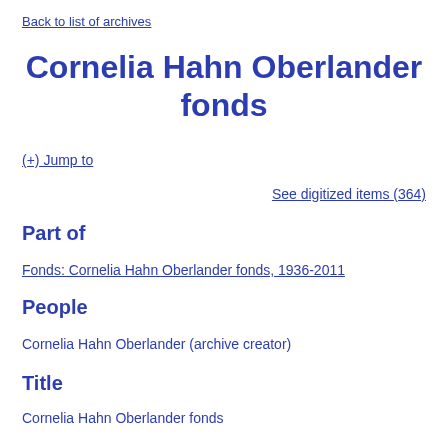Back to list of archives
Cornelia Hahn Oberlander fonds
(+) Jump to
See digitized items (364)
Part of
Fonds: Cornelia Hahn Oberlander fonds, 1936-2011
People
Cornelia Hahn Oberlander (archive creator)
Title
Cornelia Hahn Oberlander fonds